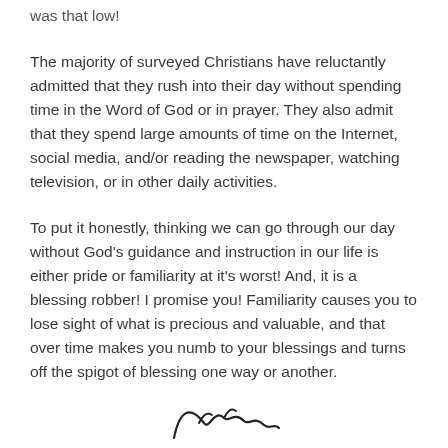was that low!
The majority of surveyed Christians have reluctantly admitted that they rush into their day without spending time in the Word of God or in prayer. They also admit that they spend large amounts of time on the Internet, social media, and/or reading the newspaper, watching television, or in other daily activities.
To put it honestly, thinking we can go through our day without God’s guidance and instruction in our life is either pride or familiarity at it’s worst! And, it is a blessing robber! I promise you! Familiarity causes you to lose sight of what is precious and valuable, and that over time makes you numb to your blessings and turns off the spigot of blessing one way or another.
[Figure (illustration): A cursive handwritten signature or decorative script at the bottom center of the page.]